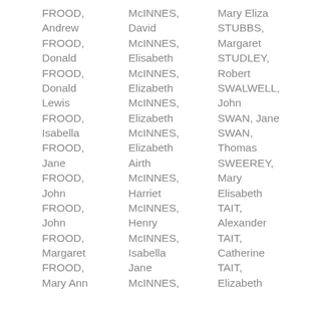FROOD,  Andrew    McINNES,  David    Mary Eliza STUBBS,
FROOD,  Donald    McINNES,  Elisabeth    Margaret STUDLEY,
FROOD,  Donald    McINNES,  Elizabeth    Robert SWALWELL,
FROOD,  Lewis    McINNES,  Elizabeth    John SWAN, Jane
FROOD,  Isabella    McINNES,  Elizabeth    SWAN, Thomas
FROOD,  Jane    Airth    SWEEREY, Mary Elisabeth
FROOD,  John    McINNES,  Harriet    TAIT, Alexander
FROOD,  John    McINNES,  Henry    TAIT, Catherine
FROOD,  Margaret    McINNES,  Isabella    TAIT, Elizabeth
FROOD,  Mary Ann    McINNES,  Jane    Elizabeth